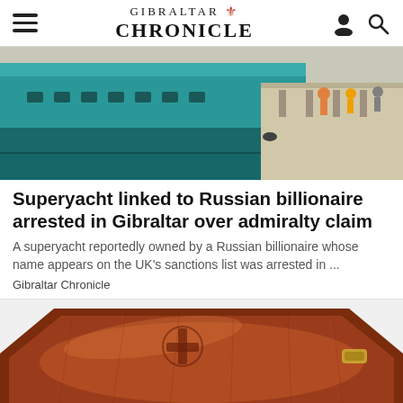GIBRALTAR CHRONICLE
[Figure (photo): A large teal/turquoise superyacht docked at a pier, viewed from the side. People and dock equipment visible on the right.]
Superyacht linked to Russian billionaire arrested in Gibraltar over admiralty claim
A superyacht reportedly owned by a Russian billionaire whose name appears on the UK's sanctions list was arrested in ...
Gibraltar Chronicle
[Figure (photo): A dark-brown wooden coffin with decorative carvings and a cross motif on the lid, with gold-colored handles visible.]